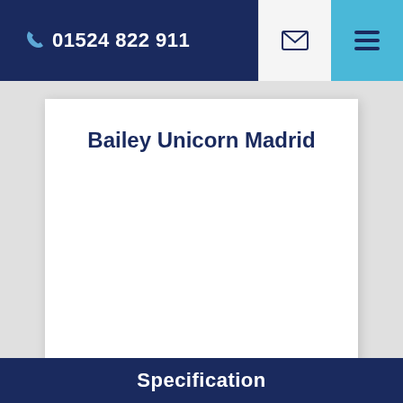01524 822 911
Bailey Unicorn Madrid
Specification